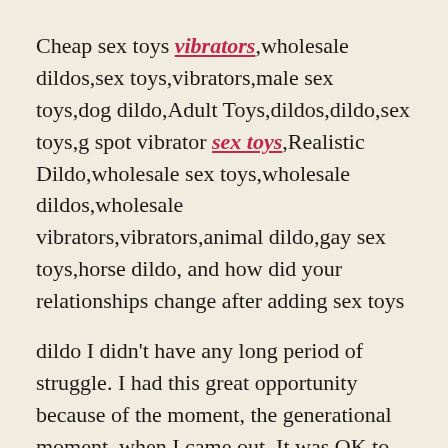Cheap sex toys vibrators,wholesale dildos,sex toys,vibrators,male sex toys,dog dildo,Adult Toys,dildos,dildo,sex toys,g spot vibrator sex toys,Realistic Dildo,wholesale sex toys,wholesale dildos,wholesale vibrators,vibrators,animal dildo,gay sex toys,horse dildo, and how did your relationships change after adding sex toys
dildo I didn't have any long period of struggle. I had this great opportunity because of the moment, the generational moment, when I came out. It was OK to be gay in 1980. Each story is unique but with one common factor; a woman's unmasked desire. Violet writes that her image of this book is "stylish, coy, slick with gloss and stiletto sharp: desirous, dangerous; ice cream in the heat; love lost and found again; filthy with laughter." She is completely right! I loved every word in this book. My eyes were glued and floated through page after page